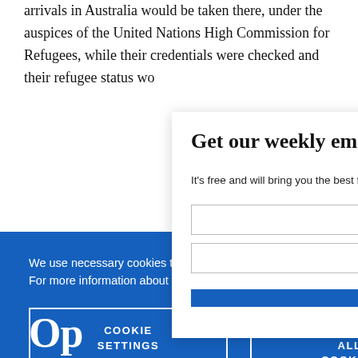arrivals in Australia would be taken there, under the auspices of the United Nations High Commission for Refugees, while their credentials were checked and their refugee status would be determined.
We use necessary cookies that allow our site to work. We also set optional cookies that help us improve our website. For more information about the types of cookies we use. READ OUR COOKIES POLICY HERE
COOKIE SETTINGS
ALLOW ALL COOKIES
Get our weekly email
It's free and will bring you the best from
data.
Op